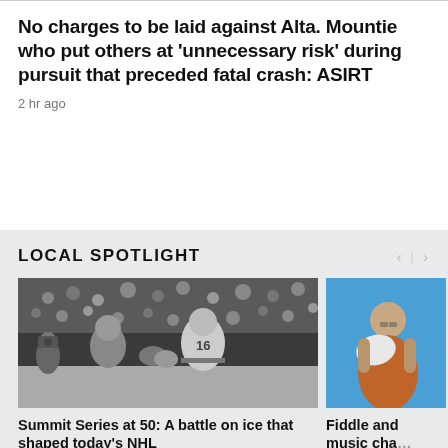No charges to be laid against Alta. Mountie who put others at 'unnecessary risk' during pursuit that preceded fatal crash: ASIRT
2 hr ago
LOCAL SPOTLIGHT
[Figure (photo): Black and white photo of two men at a hockey rink, one wearing jersey number 16, shaking hands in front of a crowd]
[Figure (photo): Color photo of a person outdoors against a blue sky, appears to be holding something]
Summit Series at 50: A battle on ice that shaped today's NHL
Fiddle and music cha...